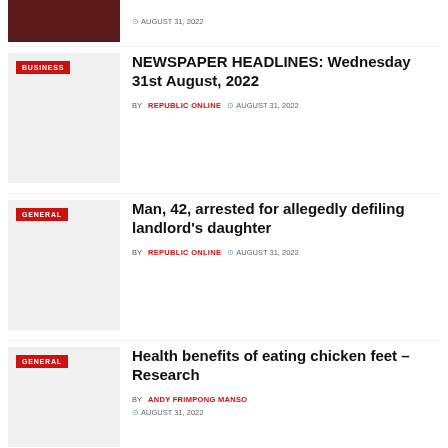[Figure (photo): Dark reddish partial thumbnail image at top, cropped]
AUGUST 31, 2022
[Figure (photo): Light gray thumbnail with BUSINESS category badge]
NEWSPAPER HEADLINES: Wednesday 31st August, 2022
BY REPUBLIC ONLINE   AUGUST 31, 2022
[Figure (photo): Light gray thumbnail with GENERAL category badge]
Man, 42, arrested for allegedly defiling landlord's daughter
BY REPUBLIC ONLINE   AUGUST 31, 2022
[Figure (photo): Light gray thumbnail with GENERAL category badge]
Health benefits of eating chicken feet – Research
BY ANDY FRIMPONG MANSO   AUGUST 31, 2022